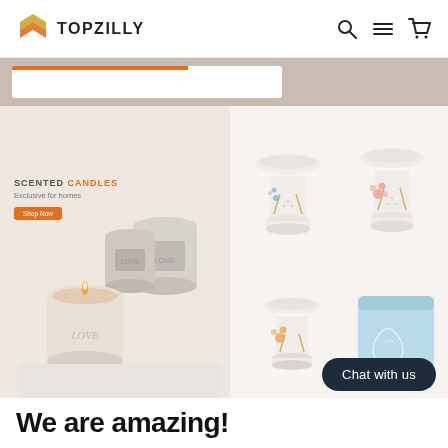TOPZILLY
[Figure (screenshot): Topzilly e-commerce website screenshot showing logo, navigation icons, search bar with orange indicator, two product sections: scented candles on the left and ceramic oil burners on the right, a dark chat button, and a bold heading 'We are amazing!' at the bottom]
SCENTED CANDLES
Exclusive for homes
Shop Now
Chat with us
We are amazing!